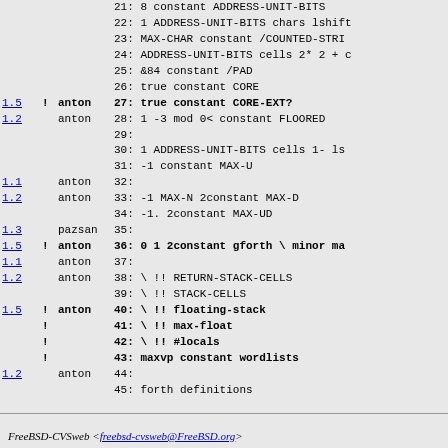| rev | ! | author | code |
| --- | --- | --- | --- |
|  |  |  | 21:  8 constant ADDRESS-UNIT-BITS |
|  |  |  | 22:  1 ADDRESS-UNIT-BITS chars lshift |
|  |  |  | 23:  MAX-CHAR constant /COUNTED-STRI |
|  |  |  | 24:  ADDRESS-UNIT-BITS cells 2* 2 + c |
|  |  |  | 25:  &84 constant /PAD |
|  |  |  | 26:  true constant CORE |
| 1.5 | ! | anton | 27:  true constant CORE-EXT? |
| 1.2 |  | anton | 28:  1 -3 mod 0< constant FLOORED |
|  |  |  | 29: |
|  |  |  | 30:  1 ADDRESS-UNIT-BITS cells 1- ls |
|  |  |  | 31:  -1 constant MAX-U |
| 1.1 |  | anton | 32: |
| 1.2 |  | anton | 33:  -1 MAX-N 2constant MAX-D |
|  |  |  | 34:  -1. 2constant MAX-UD |
| 1.3 |  | pazsan | 35: |
| 1.5 | ! | anton | 36:  0 1 2constant gforth \ minor ma |
| 1.1 |  | anton | 37: |
| 1.2 |  | anton | 38:  \ !! RETURN-STACK-CELLS |
|  |  |  | 39:  \ !! STACK-CELLS |
| 1.5 | ! | anton | 40:  \ !! floating-stack |
|  | ! |  | 41:  \ !! max-float |
|  | ! |  | 42:  \ !! #locals |
|  | ! |  | 43:  maxvp constant wordlists |
| 1.2 |  | anton | 44: |
|  |  |  | 45:  forth definitions |
|  |  |  | 46:  previous |
| 1.1 |  | anton | 47: |
FreeBSD-CVSweb <freebsd-cvsweb@FreeBSD.org>